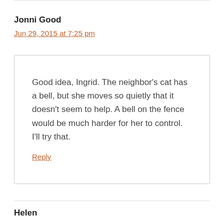Jonni Good
Jun 29, 2015 at 7:25 pm
Good idea, Ingrid. The neighbor’s cat has a bell, but she moves so quietly that it doesn’t seem to help. A bell on the fence would be much harder for her to control. I’ll try that.
Reply
Helen